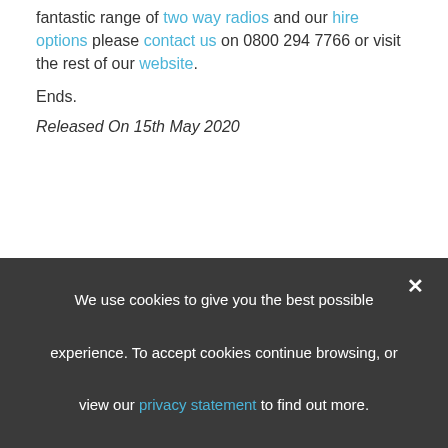fantastic range of two way radios and our hire options please contact us on 0800 294 7766 or visit the rest of our website.
Ends.
Released On 15th May 2020
We use cookies to give you the best possible experience. To accept cookies continue browsing, or view our privacy statement to find out more.